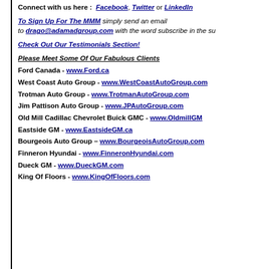Connect with us here : Facebook, Twitter or LinkedIn
To Sign Up For The MMM simply send an email to drago@adamadgroup.com with the word subscribe in the su
Check Out Our Testimonials Section!
Please Meet Some Of Our Fabulous Clients
Ford Canada - www.Ford.ca
West Coast Auto Group - www.WestCoastAutoGroup.com
Trotman Auto Group - www.TrotmanAutoGroup.com
Jim Pattison Auto Group - www.JPAutoGroup.com
Old Mill Cadillac Chevrolet Buick GMC - www.OldmillGM
Eastside GM - www.EastsideGM.ca
Bourgeois Auto Group – www.BourgeoisAutoGroup.com
Finneron Hyundai - www.FinneronHyundai.com
Dueck GM - www.DueckGM.com
King Of Floors - www.KingOfFloors.com